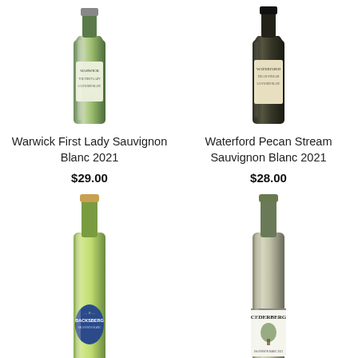[Figure (photo): Warwick First Lady Sauvignon Blanc 2021 wine bottle, green glass, white label with Warwick branding, top portion visible]
Warwick First Lady Sauvignon Blanc 2021
$29.00
[Figure (photo): Waterford Pecan Stream Sauvignon Blanc 2021 wine bottle, dark glass, cream/beige label with Waterford branding, top portion visible]
Waterford Pecan Stream Sauvignon Blanc 2021
$28.00
[Figure (photo): Backsberg Sauvignon Blanc wine bottle, green glass with yellow-green tint, blue oval label with gold B monogram and Backsberg branding, bottom portion visible]
[Figure (photo): Cederberg wine bottle, pale glass, white label with Cederberg tree illustration, bottom portion visible]